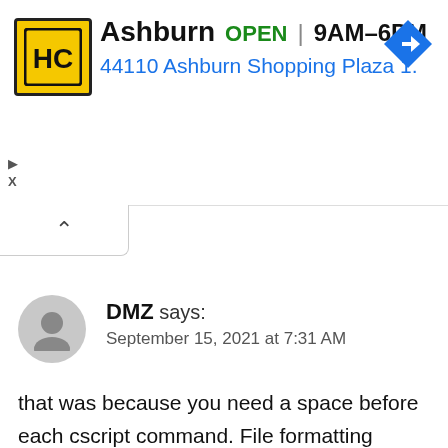[Figure (screenshot): Advertisement banner for Haircuts company in Ashburn, showing yellow HC logo, business name, OPEN status, hours 9AM-6PM, address 44110 Ashburn Shopping Plaza 1., and a blue navigation arrow icon]
DMZ says:
September 15, 2021 at 7:31 AM
that was because you need a space before each cscript command. File formatting probably stripped it out from the author’s intended text. Manually add the space so the commands look like this:
(Hint, you can copy paste to a plain text file (in notepad) and save the whole thing as a .bat file to run it all in 1 file. )